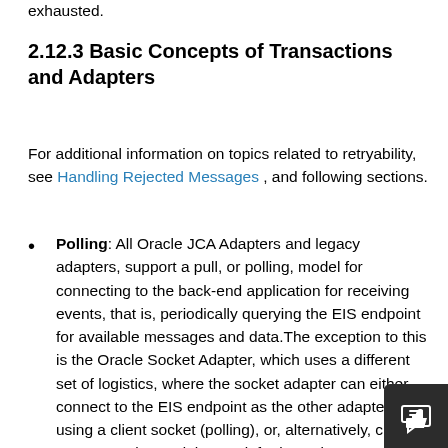exhausted.
2.12.3 Basic Concepts of Transactions and Adapters
For additional information on topics related to retryability, see Handling Rejected Messages , and following sections.
Polling: All Oracle JCA Adapters and legacy adapters, support a pull, or polling, model for connecting to the back-end application for receiving events, that is, periodically querying the EIS endpoint for available messages and data.The exception to this is the Oracle Socket Adapter, which uses a different set of logistics, where the socket adapter can either connect to the EIS endpoint as the other adapters do using a client socket (polling), or, alternatively, create a server socket and then wait for incoming requests (pu... With polling, connection-related issues are...